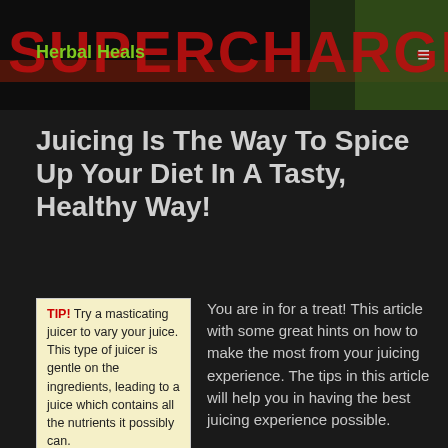[Figure (photo): Website header banner with 'SUPERCHARGE ANY JUICE' text in large red distressed font on dark background with green plant imagery]
Herbal Heals
Juicing Is The Way To Spice Up Your Diet In A Tasty, Healthy Way!
TIP! Try a masticating juicer to vary your juice. This type of juicer is gentle on the ingredients, leading to a juice which contains all the nutrients it possibly can.
You are in for a treat! This article with some great hints on how to make the most from your juicing experience. The tips in this article will help you in having the best juicing experience possible.